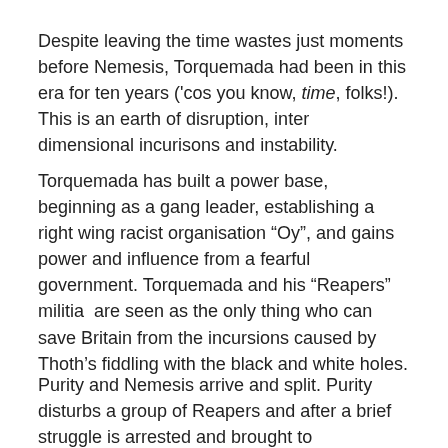Despite leaving the time wastes just moments before Nemesis, Torquemada had been in this era for ten years ('cos you know, time, folks!). This is an earth of disruption, inter dimensional incurisons and instability.
Torquemada has built a power base, beginning as a gang leader, establishing a right wing racist organisation “Oy”, and gains power and influence from a fearful government. Torquemada and his “Reapers” militia  are seen as the only thing who can save Britain from the incursions caused by Thoth’s fiddling with the black and white holes.
Purity and Nemesis arrive and split. Purity disturbs a group of Reapers and after a brief struggle is arrested and brought to Torquemada. He reminds her of their “relationship” and informs her that Nemesis has made her